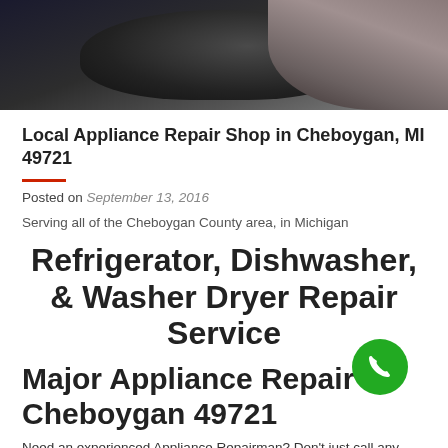[Figure (photo): Dark hero/banner image showing a close-up of what appears to be a shiny appliance or dark surface, with light reflecting off it.]
Local Appliance Repair Shop in Cheboygan, MI 49721
Posted on September 13, 2016
Serving all of the Cheboygan County area, in Michigan
Refrigerator, Dishwasher, & Washer Dryer Repair Service
Major Appliance Repair Cheboygan 49721
Need an experienced Appliance Repairman? Don't just call any contractor. Appliance Repairmen really do know